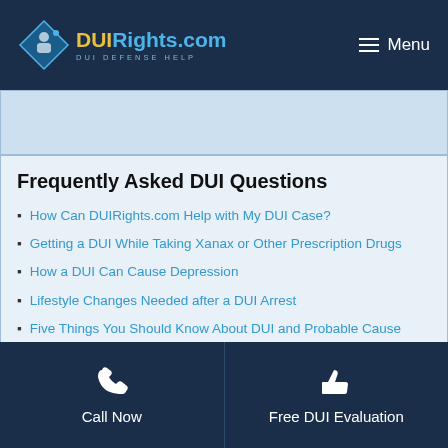DUIRights.com — DUI DEFENSE HELP | Menu
[Figure (other): Advertisement banner area (light blue background)]
Frequently Asked DUI Questions
How Can DUIRights.com Help with My DUI Case?
Getting a DUI While Taking Xanax or Other Prescription Drugs
How a DUI Can Cause Depression
Lifestyle Changes Needed after a DUI Arrest
Five Things You Should Know About DUI and Probable Cause
Do DUI Attorneys Have Payment Plans?
Call Now | Free DUI Evaluation